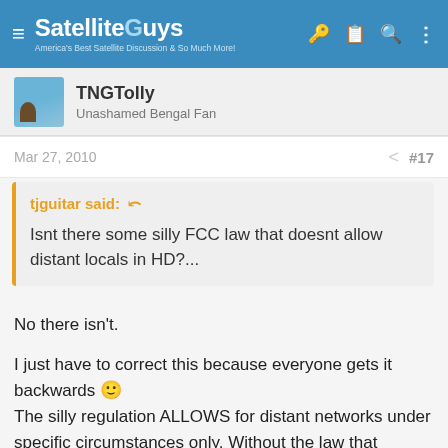SatelliteGuys — America's Best Satellite Discussion & So Much More!
TNGTolly
Unashamed Bengal Fan
Mar 27, 2010   #17
tjguitar said:
Isnt there some silly FCC law that doesnt allow distant locals in HD?...
No there isn't.

I just have to correct this because everyone gets it backwards 🙂
The silly regulation ALLOWS for distant networks under specific circumstances only. Without the law that Congress approved and the FCC regulates, no